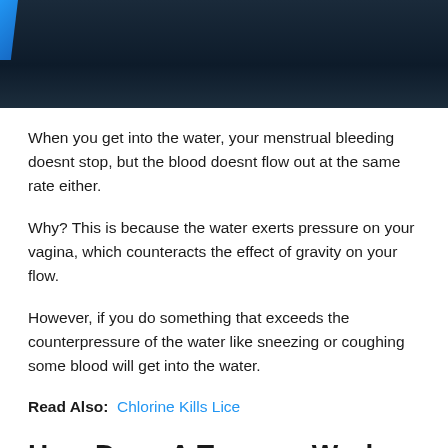[Figure (photo): Dark background image, likely underwater or night sky, with a blue diagonal element in the top-left corner.]
When you get into the water, your menstrual bleeding doesnt stop, but the blood doesnt flow out at the same rate either.
Why? This is because the water exerts pressure on your vagina, which counteracts the effect of gravity on your flow.
However, if you do something that exceeds the counterpressure of the water like sneezing or coughing some blood will get into the water.
Read Also:  Chlorine Kills Lice
How Does A Tampon Work